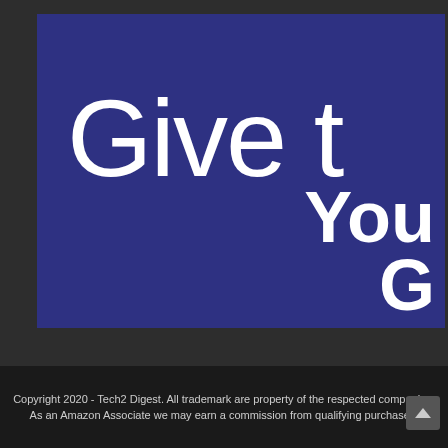[Figure (illustration): A dark blue/indigo banner image partially cropped, showing large white text 'Give t' on the upper portion and 'You' text on the lower right, with a partial letter 'G' or 'C' below it. The background is a deep blue-purple color (#2e3182).]
Copyright 2020 - Tech2 Digest. All trademark are property of the respected companies. As an Amazon Associate we may earn a commission from qualifying purchases.